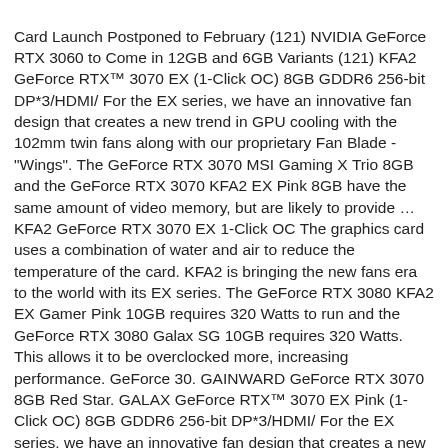Card Launch Postponed to February (121) NVIDIA GeForce RTX 3060 to Come in 12GB and 6GB Variants (121) KFA2 GeForce RTX™ 3070 EX (1-Click OC) 8GB GDDR6 256-bit DP*3/HDMI/ For the EX series, we have an innovative fan design that creates a new trend in GPU cooling with the 102mm twin fans along with our proprietary Fan Blade - "Wings". The GeForce RTX 3070 MSI Gaming X Trio 8GB and the GeForce RTX 3070 KFA2 EX Pink 8GB have the same amount of video memory, but are likely to provide … KFA2 GeForce RTX 3070 EX 1-Click OC The graphics card uses a combination of water and air to reduce the temperature of the card. KFA2 is bringing the new fans era to the world with its EX series. The GeForce RTX 3080 KFA2 EX Gamer Pink 10GB requires 320 Watts to run and the GeForce RTX 3080 Galax SG 10GB requires 320 Watts. This allows it to be overclocked more, increasing performance. GeForce 30. GAINWARD GeForce RTX 3070 8GB Red Star. GALAX GeForce RTX™ 3070 EX Pink (1-Click OC) 8GB GDDR6 256-bit DP*3/HDMI/ For the EX series, we have an innovative fan design that creates a new trend in GPU